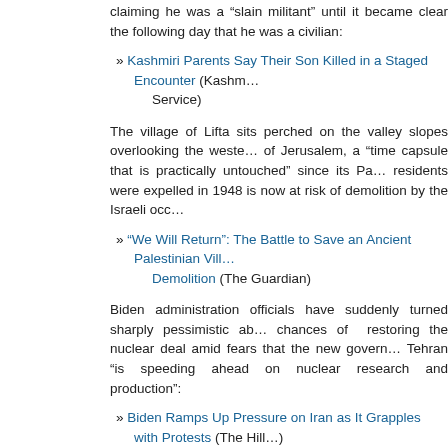claiming he was a “slain militant” until it became clear the following day that he was a civilian:
» Kashmiri Parents Say Their Son Killed in a Staged Encounter (Kashmir News Service)
The village of Lifta sits perched on the valley slopes overlooking the western entrance of Jerusalem, a “time capsule that is practically untouched” since its Palestinian residents were expelled in 1948 is now at risk of demolition by the Israeli occ…
» ‘We Will Return’: The Battle to Save an Ancient Palestinian Villa… Demolition (The Guardian)
Biden administration officials have suddenly turned sharply pessimistic ab… chances of restoring the nuclear deal amid fears that the new govern… Tehran “is speeding ahead on nuclear research and production”:
» Biden Ramps Up Pressure on Iran as It Grapples with Protests (The Hill)
If confirmed as the “Ambassador-at-Large for International Religious Freed… Hussain will be the first Muslim to head US diplomacy for advancing … liberties:
» Joe Biden Nominates Indian-American Rashad Hussain as First… Religious Freedom Ambassador (Mint)
Iranian state media has said the incident was in retaliation for an airstr… military airport in Syria that it “accused Israel of being behind”: